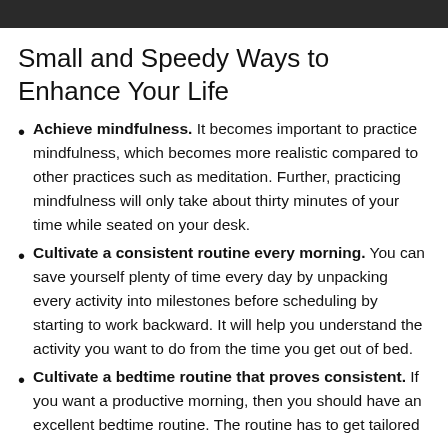[Figure (photo): Dark banner image at the top of the page]
Small and Speedy Ways to Enhance Your Life
Achieve mindfulness. It becomes important to practice mindfulness, which becomes more realistic compared to other practices such as meditation. Further, practicing mindfulness will only take about thirty minutes of your time while seated on your desk.
Cultivate a consistent routine every morning. You can save yourself plenty of time every day by unpacking every activity into milestones before scheduling by starting to work backward. It will help you understand the activity you want to do from the time you get out of bed.
Cultivate a bedtime routine that proves consistent. If you want a productive morning, then you should have an excellent bedtime routine. The routine has to get tailored